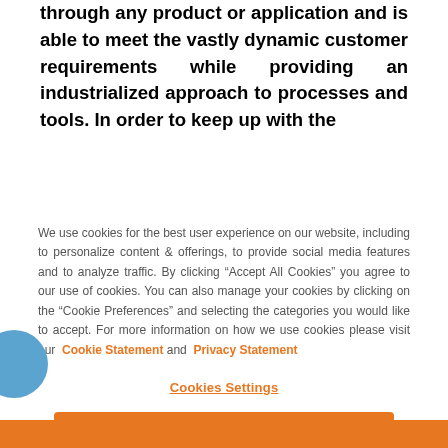through any product or application and is able to meet the vastly dynamic customer requirements while providing an industrialized approach to processes and tools. In order to keep up with the
We use cookies for the best user experience on our website, including to personalize content & offerings, to provide social media features and to analyze traffic. By clicking “Accept All Cookies” you agree to our use of cookies. You can also manage your cookies by clicking on the “Cookie Preferences” and selecting the categories you would like to accept. For more information on how we use cookies please visit our Cookie Statement and Privacy Statement
Cookies Settings
Reject All Cookies